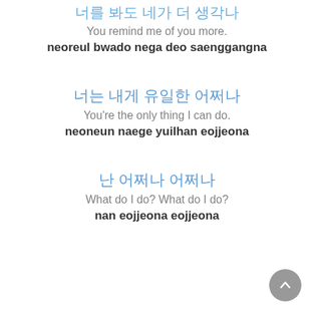너를 봐도 네가 더 생각나
You remind me of you more.
neoreul bwado nega deo saenggangna
너는 내게 유일한 어쩌나
You're the only thing I can do.
neoneun naege yuilhan eojjeona
난 어쩌나 어쩌나
What do I do? What do I do?
nan eojjeona eojjeona